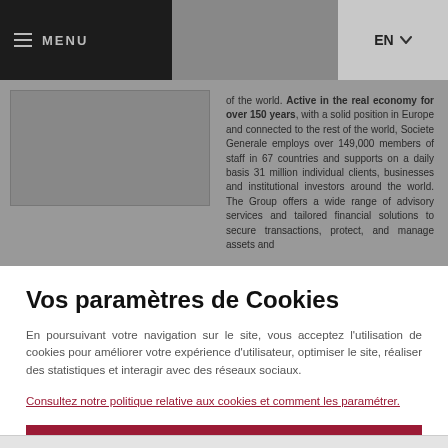MENU | EN
of the world. Active in the real economy for over 150 years, with a solid position in Europe and connected to the rest of the world, Societe Generale employs over 149,000 members of staff in 67 countries and supports on a daily basis 31 million individual clients, businesses and institutional investors around the world. The Group offers a wide range of advisory services and tailored financial solutions to secure transactions, protect, and manage assets and
Vos paramètres de Cookies
En poursuivant votre navigation sur le site, vous acceptez l'utilisation de cookies pour améliorer votre expérience d'utilisateur, optimiser le site, réaliser des statistiques et interagir avec des réseaux sociaux.
Consultez notre politique relative aux cookies et comment les paramétrer.
OUI, J'ACCEPTE